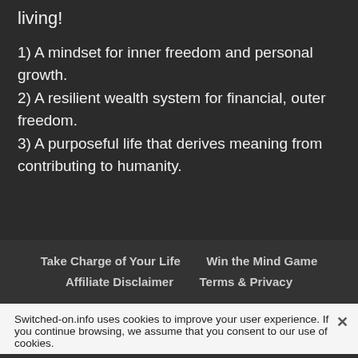living!
1) A mindset for inner freedom and personal growth.
2) A resilient wealth system for financial, outer freedom.
3) A purposeful life that derives meaning from contributing to humanity.
Take Charge of Your Life   Win the Mind Game   Affiliate Disclaimer   Terms & Privacy
Switched-on.info uses cookies to improve your user experience. If you continue browsing, we assume that you consent to our use of cookies.
© Copyright Switched-on.info 2005 - 2022 All Rights
Okay · Terms
Share This